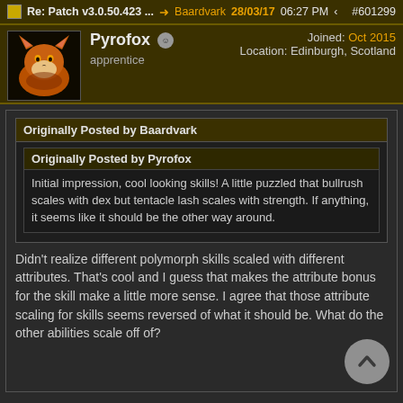Re: Patch v3.0.50.423 ...  → Baardvark  28/03/17  06:27 PM  #601299
Pyrofox  apprentice  Joined: Oct 2015  Location: Edinburgh, Scotland
Originally Posted by Baardvark
Originally Posted by Pyrofox
Initial impression, cool looking skills! A little puzzled that bullrush scales with dex but tentacle lash scales with strength. If anything, it seems like it should be the other way around.
Didn't realize different polymorph skills scaled with different attributes. That's cool and I guess that makes the attribute bonus for the skill make a little more sense. I agree that those attribute scaling for skills seems reversed of what it should be. What do the other abilities scale off of?